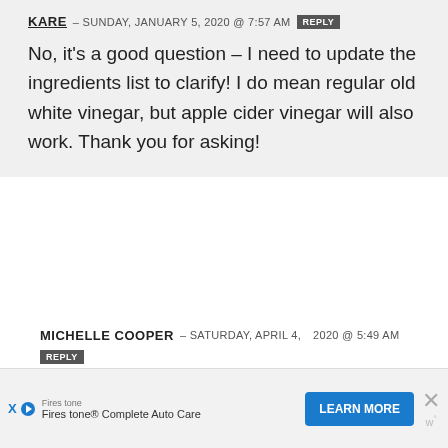KARE – SUNDAY, JANUARY 5, 2020 @ 7:57 AM  REPLY
No, it's a good question – I need to update the ingredients list to clarify! I do mean regular old white vinegar, but apple cider vinegar will also work. Thank you for asking!
MICHELLE COOPER – SATURDAY, APRIL 4, 2020 @ 5:49 AM  REPLY
I used apple cider vinegar and it worked fine for me. I didn't see a difference in the
[Figure (screenshot): Advertisement banner for Firestone Complete Auto Care with LEARN MORE button and close X button]